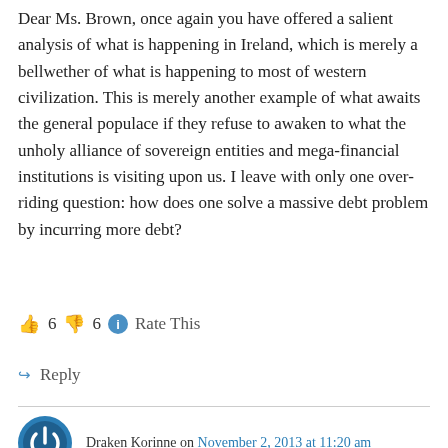Dear Ms. Brown, once again you have offered a salient analysis of what is happening in Ireland, which is merely a bellwether of what is happening to most of western civilization. This is merely another example of what awaits the general populace if they refuse to awaken to what the unholy alliance of sovereign entities and mega-financial institutions is visiting upon us. I leave with only one over-riding question: how does one solve a massive debt problem by incurring more debt?
👍 6 👎 6 ℹ Rate This
↪ Reply
Draken Korinne on November 2, 2013 at 11:20 am